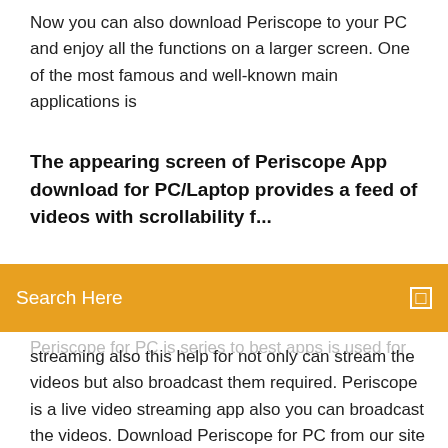Now you can also download Periscope to your PC and enjoy all the functions on a larger screen. One of the most famous and well-known main applications is
The appearing screen of Periscope App download for PC/Laptop provides a feed of videos with scrollability f...
[Figure (screenshot): Orange search bar overlay with white text 'Search Here' and a small white square icon on the right]
Periscope for PC is series to best apps is used for live video streaming also this help for not only can stream the videos but also broadcast them required. Periscope is a live video streaming app also you can broadcast the videos. Download Periscope for PC from our site year it's your favorite live streaming app only now you can install it in windows and mac operation system Download Periscope for PC Windows 10/7/8 Laptop (December 2019 Official) here and share your life events instantly via Twitter and other social media apps. Among all three options for using Periscope on a Windows PC or laptop,